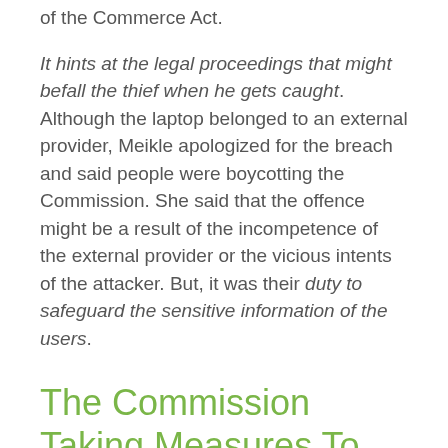of the Commerce Act.
It hints at the legal proceedings that might befall the thief when he gets caught. Although the laptop belonged to an external provider, Meikle apologized for the breach and said people were boycotting the Commission. She said that the offence might be a result of the incompetence of the external provider or the vicious intents of the attacker. But, it was their duty to safeguard the sensitive information of the users.
The Commission Taking Measures To Control The Damage